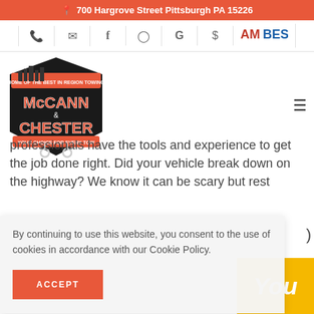700 Hargrove Street Pittsburgh PA 15226
[Figure (logo): McCann Chester towing company logo with orange and black design, Pittsburgh skyline silhouette, tow hook graphic]
professionals have the tools and experience to get the job done right. Did your vehicle break down on the highway? We know it can be scary but rest
By continuing to use this website, you consent to the use of cookies in accordance with our Cookie Policy.
ACCEPT
de, but
You